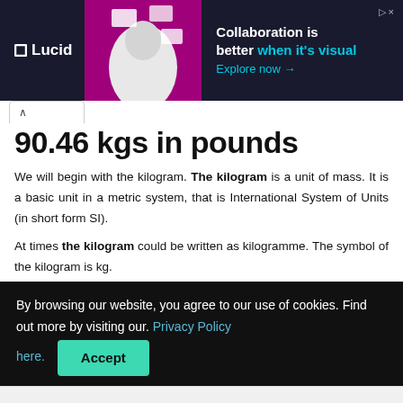[Figure (screenshot): Lucid advertisement banner with dark background, logo, image of person, and text 'Collaboration is better when it's visual. Explore now →']
90.46 kgs in pounds
We will begin with the kilogram. The kilogram is a unit of mass. It is a basic unit in a metric system, that is International System of Units (in short form SI).
At times the kilogram could be written as kilogramme. The symbol of the kilogram is kg.
By browsing our website, you agree to our use of cookies. Find out more by visiting our. Privacy Policy here. Accept